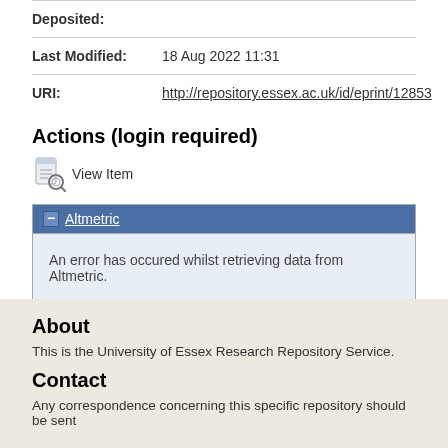| Field | Value |
| --- | --- |
| Deposited: |  |
| Last Modified: | 18 Aug 2022 11:31 |
| URI: | http://repository.essex.ac.uk/id/eprint/12853 |
Actions (login required)
View Item
An error has occured whilst retrieving data from Altmetric.
About
This is the University of Essex Research Repository Service.
Contact
Any correspondence concerning this specific repository should be sent